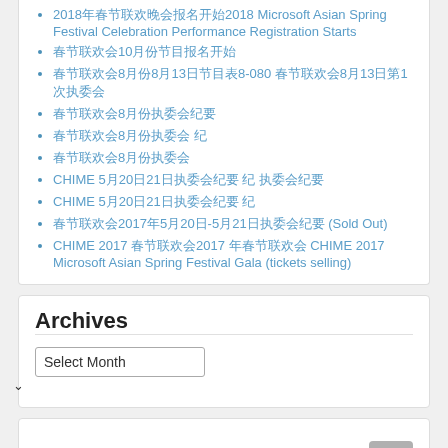2018年春节联欢晚会报名开始2018 Microsoft Asian Spring Festival Celebration Performance Registration Starts
春节联欢会10月份节目报名开始
春节联欢会8月份8月13日节目表8-080 春节联欢会8月13日第1次执委会
春节联欢会8月份执委会纪要
春节联欢会8月份执委会 纪
春节联欢会8月份执委会
CHIME 5月20日21日执委会纪要 纪 执委会纪要
CHIME 5月20日21日执委会纪要 纪
春节联欢会2017年5月20日-5月21日执委会纪要 (Sold Out)
CHIME 2017 春节联欢会2017 年春节联欢会 CHIME 2017 Microsoft Asian Spring Festival Gala (tickets selling)
Archives
Select Month